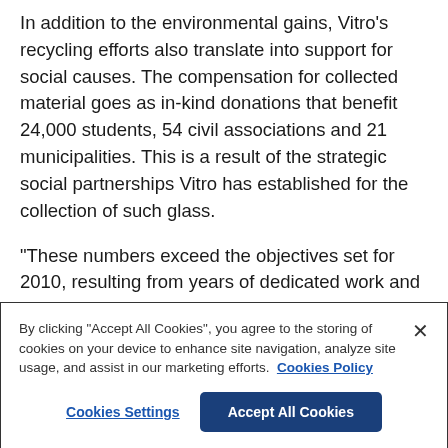In addition to the environmental gains, Vitro's recycling efforts also translate into support for social causes. The compensation for collected material goes as in-kind donations that benefit 24,000 students, 54 civil associations and 21 municipalities. This is a result of the strategic social partnerships Vitro has established for the collection of such glass.
"These numbers exceed the objectives set for 2010, resulting from years of dedicated work and effort from...
By clicking "Accept All Cookies", you agree to the storing of cookies on your device to enhance site navigation, analyze site usage, and assist in our marketing efforts. Cookies Policy